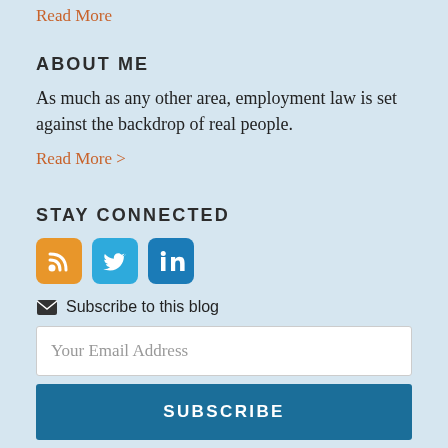Read More
ABOUT ME
As much as any other area, employment law is set against the backdrop of real people.
Read More >
STAY CONNECTED
[Figure (illustration): Three social media icons: RSS (orange), Twitter (blue), LinkedIn (dark blue)]
Subscribe to this blog
Your Email Address
SUBSCRIBE